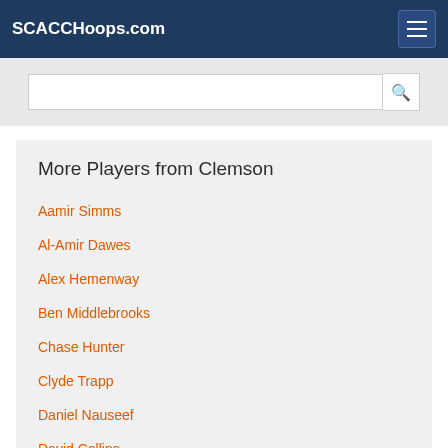SCACCHoops.com
More Players from Clemson
Aamir Simms
Al-Amir Dawes
Alex Hemenway
Ben Middlebrooks
Chase Hunter
Clyde Trapp
Daniel Nauseef
David Collins